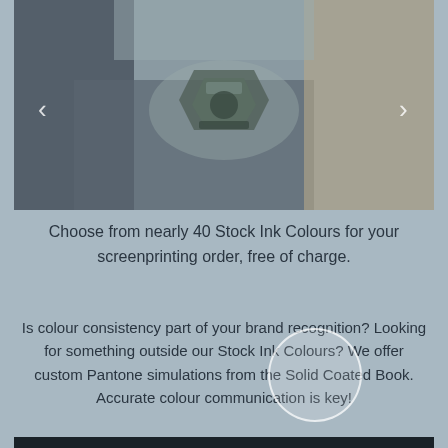[Figure (photo): Photo of a person holding up a baseball cap with a 'WILD BASEBALL' embroidered patch logo, showing embroidery/screenprint details. Navigation arrows visible on left and right sides.]
Choose from nearly 40 Stock Ink Colours for your screenprinting order, free of charge.
Is colour consistency part of your brand recognition? Looking for something outside our Stock Ink Colours? We offer custom Pantone simulations from the Solid Coated Book. Accurate colour communication is key!